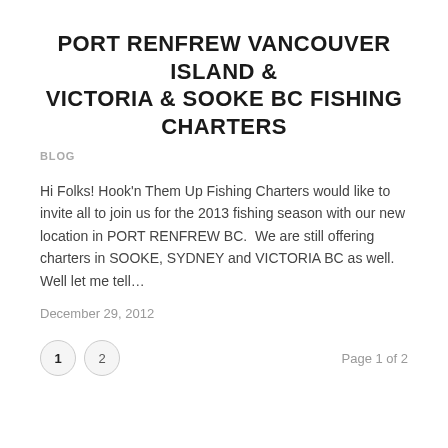PORT RENFREW VANCOUVER ISLAND & VICTORIA & SOOKE BC FISHING CHARTERS
BLOG
Hi Folks! Hook'n Them Up Fishing Charters would like to invite all to join us for the 2013 fishing season with our new location in PORT RENFREW BC.  We are still offering charters in SOOKE, SYDNEY and VICTORIA BC as well.  Well let me tell…
December 29, 2012
1   2   Page 1 of 2